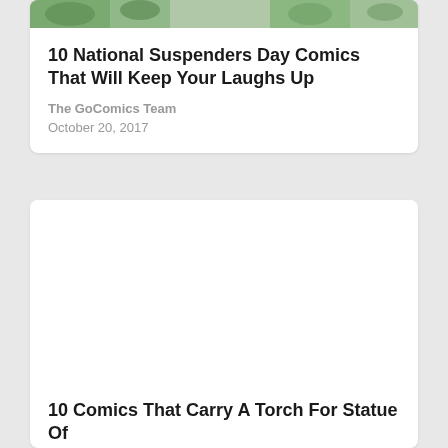[Figure (illustration): Partial comic strip image visible at the top of the first card, showing cartoon characters in green and teal tones]
10 National Suspenders Day Comics That Will Keep Your Laughs Up
The GoComics Team
October 20, 2017
[Figure (illustration): White empty image area for second article card]
10 Comics That Carry A Torch For Statue Of